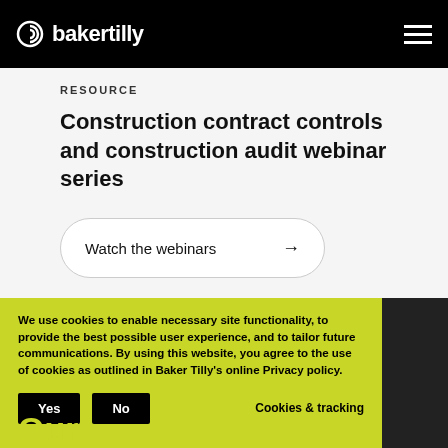bakertilly
RESOURCE
Construction contract controls and construction audit webinar series
Watch the webinars →
We use cookies to enable necessary site functionality, to provide the best possible user experience, and to tailor future communications. By using this website, you agree to the use of cookies as outlined in Baker Tilly's online Privacy policy.
Yes  No  Cookies & tracking
Our